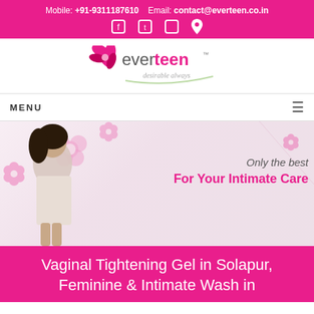Mobile: +91-9311187610    Email: contact@everteen.co.in
[Figure (logo): everteen logo with flower and tagline 'desirable always']
MENU
[Figure (photo): Website banner showing a woman in white dress with text 'Only the best For Your Intimate Care' and floral decorations on pink/light background]
Vaginal Tightening Gel in Solapur, Feminine & Intimate Wash in